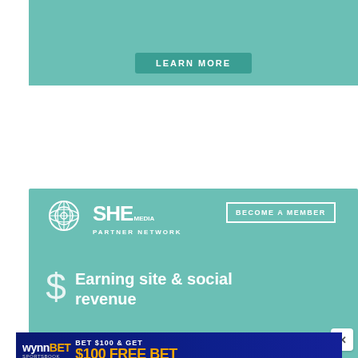[Figure (infographic): Top teal banner with LEARN MORE button]
[Figure (infographic): SHE Media Partner Network teal banner ad with BECOME A MEMBER button, dollar sign icon, 'Earning site & social revenue' text, and LEARN MORE button]
[Figure (infographic): WynnBET Sportsbook advertisement: BET $100 & GET $100 FREE BET, NEW CUSTOMERS ONLY, BET NOW button]